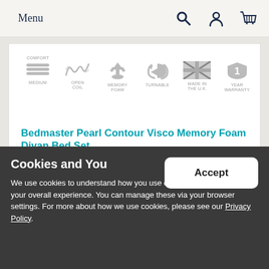Menu
[Figure (infographic): Product feature icons: COMFORT/MEDIUM (layered foam icon), OPEN COIL (spring icon), MEMORY FOAM (hand icon), TURNABLE (U-turn arrow icon), MADE IN THE U.K. (Union Jack flag icon), 1 YEAR WARRANTY (shield icon)]
Bedmaster Pearl Contour Visco Memory Foam Divan Bed Set
£269.00
[Figure (infographic): Fast Track delivery badge on second product card]
Cookies and You
We use cookies to understand how you use our site and to improve your overall experience. You can manage these via your browser settings. For more about how we use cookies, please see our Privacy Policy.